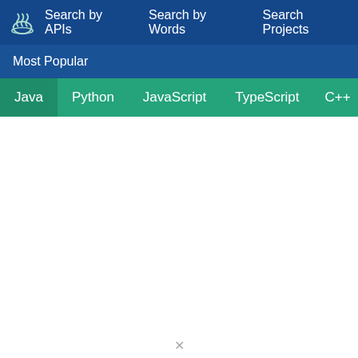Search by APIs  Search by Words  Search Projects
Most Popular
Java  Python  JavaScript  TypeScript  C++  Scala